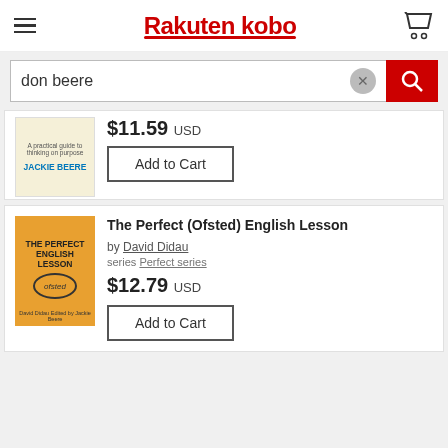Rakuten kobo
don beere
$11.59 USD
Add to Cart
The Perfect (Ofsted) English Lesson
by David Didau
series Perfect series
$12.79 USD
Add to Cart